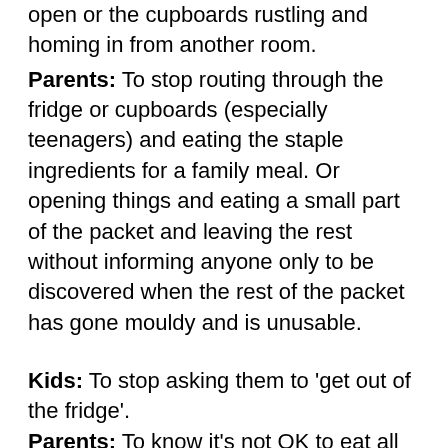open or the cupboards rustling and homing in from another room.
Parents: To stop routing through the fridge or cupboards (especially teenagers) and eating the staple ingredients for a family meal. Or opening things and eating a small part of the packet and leaving the rest without informing anyone only to be discovered when the rest of the packet has gone mouldy and is unusable.
Kids: To stop asking them to 'get out of the fridge'.
Parents: To know it's not OK to eat all of the essentials for the pack ups (school packed lunches) whenever they want and to understand that dad will go off on one if you eat the chocolate bars (Mars, Snickers, etc) when there are Penguins readily available and allocated for the kids. This